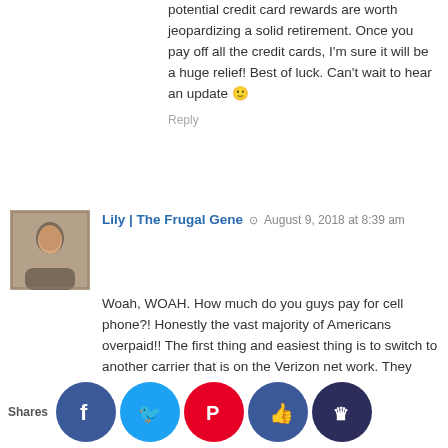potential credit card rewards are worth jeopardizing a solid retirement. Once you pay off all the credit cards, I'm sure it will be a huge relief! Best of luck. Can't wait to hear an update 🙂
Reply
Lily | The Frugal Gene · August 9, 2018 at 8:39 am
Woah, WOAH. How much do you guys pay for cell phone?! Honestly the vast majority of Americans overpaid!! The first thing and easiest thing is to switch to another carrier that is on the Verizon net work. They piggy back off the towers so you get the same coverage for a fraction of the cost.
I've tried RedPocket and I love it. I paid $10 last month but that's lean for 500 messages, 500 mb and 500 minutes talk and chat. For $15 it's 1GB internet, 1000 messages and 1000 talk.
The switch was pretty easy and it cut my phone bill in less than half. I was paying $33 dollars before myself!! And I did that for YEARS. I'm usually so frugal until I came out of the woods and realized I've been a sucker to AT&T and Verizon for too long. A... it off a... switch... it wo... taken mi... research... about -... very yea...
Shares